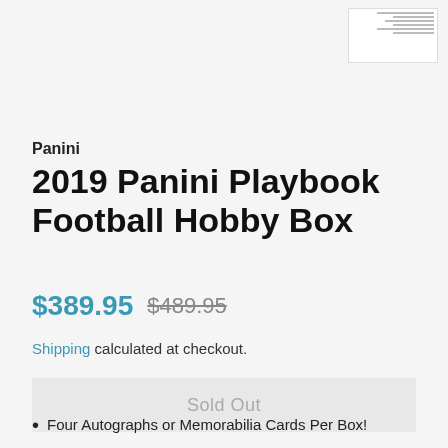[Figure (screenshot): Small thumbnail screenshot of a product page in the top right corner]
Panini
2019 Panini Playbook Football Hobby Box
$389.95  $489.95
Shipping calculated at checkout.
Sold Out
Four Autographs or Memorabilia Cards Per Box!